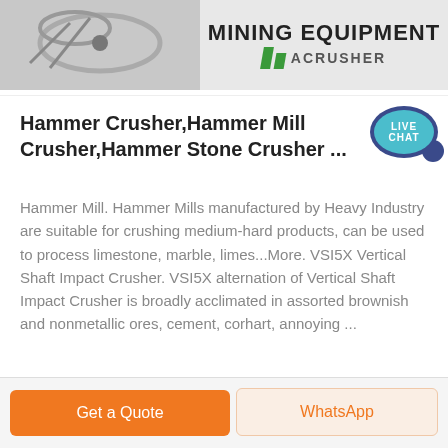[Figure (photo): Mining Equipment banner with ACRUSHER branding, showing rope/cable imagery on the left and MINING EQUIPMENT text with green diagonal bars and ACRUSHER logo on the right]
Hammer Crusher,Hammer Mill Crusher,Hammer Stone Crusher ...
Hammer Mill. Hammer Mills manufactured by Heavy Industry are suitable for crushing medium-hard products, can be used to process limestone, marble, limes...More. VSI5X Vertical Shaft Impact Crusher. VSI5X alternation of Vertical Shaft Impact Crusher is broadly acclimated in assorted brownish and nonmetallic ores, cement, corhart, annoying ...
Get Price
Get a Quote
WhatsApp